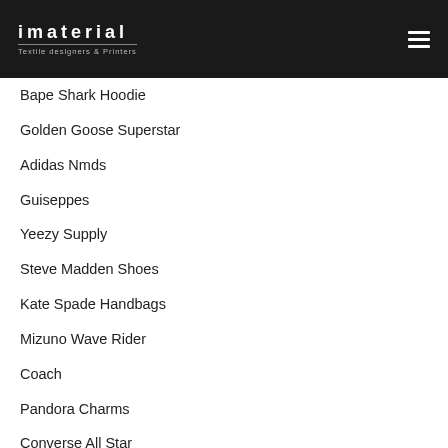imaterial | Textile designers & Printers
Bape Shark Hoodie
Golden Goose Superstar
Adidas Nmds
Guiseppes
Yeezy Supply
Steve Madden Shoes
Kate Spade Handbags
Mizuno Wave Rider
Coach
Pandora Charms
Converse All Star
Beats
Pandora Online
Saucony Running Shoes
Vans